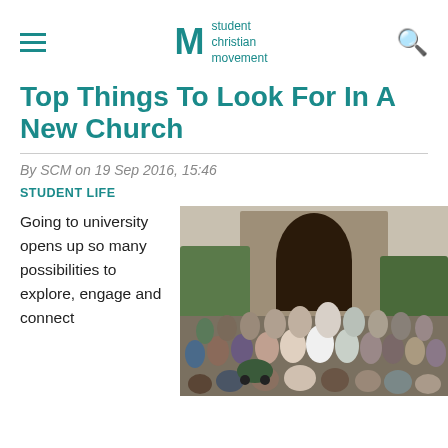Student Christian Movement
Top Things To Look For In A New Church
By SCM on 19 Sep 2016, 15:46
STUDENT LIFE
Going to university opens up so many possibilities to explore, engage and connect
[Figure (photo): A large group of church congregation members posing together in front of a stone church archway entrance, including a vicar in white vestments.]